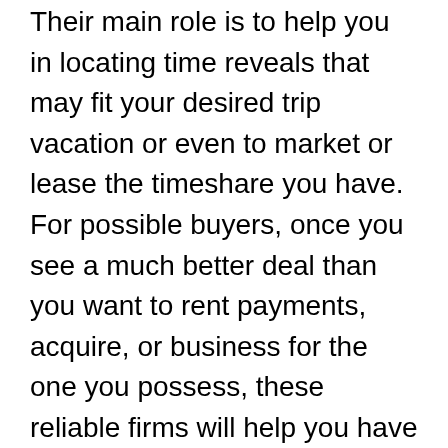Their main role is to help you in locating time reveals that may fit your desired trip vacation or even to market or lease the timeshare you have. For possible buyers, once you see a much better deal than you want to rent payments, acquire, or business for the one you possess, these reliable firms will help you have the negotiation approximately the closing simple and fast.
It can be difficult and often perplexing to make trade timeshare bargains and talks between buyers or tenants and proprietors minus the participation of a 3rd party. The third-get